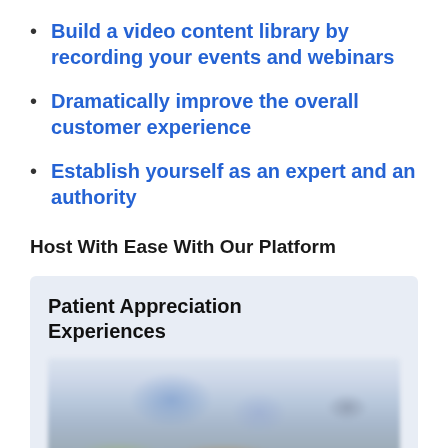Build a video content library by recording your events and webinars
Dramatically improve the overall customer experience
Establish yourself as an expert and an authority
Host With Ease With Our Platform
Patient Appreciation Experiences
[Figure (screenshot): Blurred screenshot of a patient appreciation experiences interface showing cards or thumbnails]